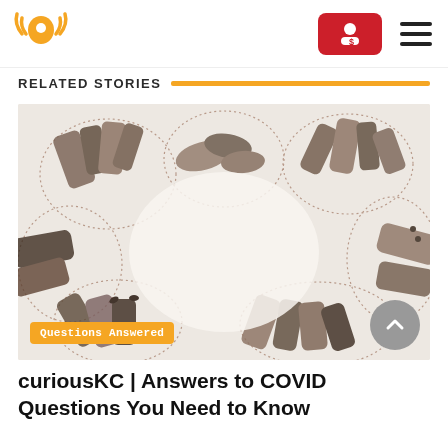KCUR logo with navigation: donate button and hamburger menu
RELATED STORIES
[Figure (photo): Collage of diverse hands in black and white photos arranged in a circular pattern on a cream background with dotted heart/blob shapes, with an orange 'Questions Answered' badge overlay and a grey scroll-up button in the bottom right corner]
curiousKC | Answers to COVID Questions You Need to Know